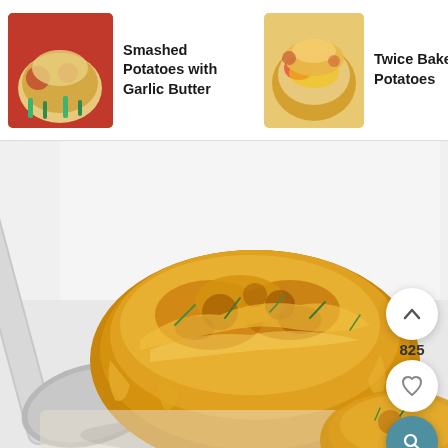[Figure (photo): Navigation thumbnail: Smashed Potatoes with Garlic Butter - food photo showing red-sauced potatoes with green herbs]
Smashed Potatoes with Garlic Butter
[Figure (photo): Navigation thumbnail: Twice Baked Potatoes - cheesy loaded potato photo]
Twice Baked Potatoes
[Figure (photo): Navigation thumbnail: Maple Bacon Brussels Sprouts and (truncated)]
Maple Bac... Brusse>s Sprouts an
[Figure (photo): Main food photo: close-up of a cheesy, golden-brown twice baked potato being lifted on a spoon, with chives on top]
825